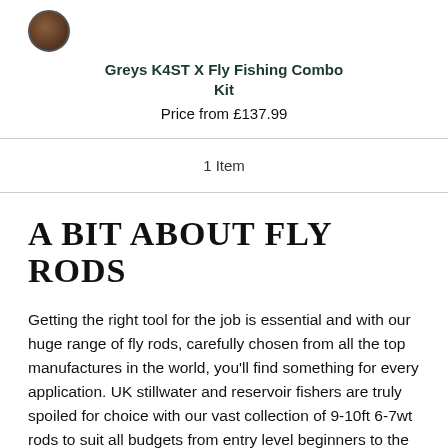[Figure (logo): Small circular logo, dark brown/black tone, appears to be a product or brand logo]
Greys K4ST X Fly Fishing Combo Kit
Price from £137.99
1 Item
A BIT ABOUT FLY RODS
Getting the right tool for the job is essential and with our huge range of fly rods, carefully chosen from all the top manufactures in the world, you'll find something for every application. UK stillwater and reservoir fishers are truly spoiled for choice with our vast collection of 9-10ft 6-7wt rods to suit all budgets from entry level beginners to the serious